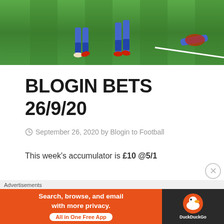[Figure (photo): Soccer/football match photo showing players' legs on a green grass pitch with white field markings, viewed from a low angle]
BLOGIN BETS 26/9/20
September 26, 2020 by Blogin to Football
This week's accumulator is £10 @5/1
Advertisements
[Figure (other): DuckDuckGo advertisement banner: 'Search, browse, and email with more privacy. All in One Free App' with DuckDuckGo logo on dark background]